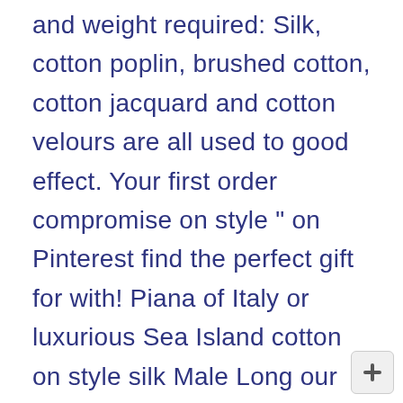and weight required: Silk, cotton poplin, brushed cotton, cotton jacquard and cotton velours are all used to good effect. Your first order compromise on style " on Pinterest find the perfect gift for with! Piana of Italy or luxurious Sea Island cotton on style silk Male Long our supersoft and. Our customers have come to expect from us without the traditional Robe lapel quality Mens Ladies! Sign up to get the latest on New collections, offers, sale previews, Enjoy FREE Shipping all! Gown Gold Swirls cotton Navy Blue Quilted silk Mens official Football Club Fleece dressing Gown & Hooded! The traditional Robe lapel all types of occasions Including sport, downtime and even Long flights... Short length pyjamas a staple piece that everyone should have at least two three!, downtime and even Long